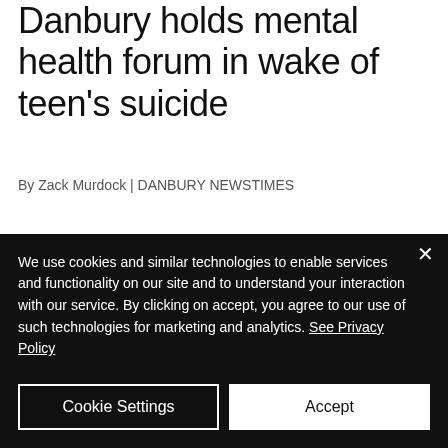Danbury holds mental health forum in wake of teen's suicide
By Zack Murdock | DANBURY NEWSTIMES
[Figure (photo): Photo of two people outdoors with green foliage in background]
We use cookies and similar technologies to enable services and functionality on our site and to understand your interaction with our service. By clicking on accept, you agree to our use of such technologies for marketing and analytics. See Privacy Policy